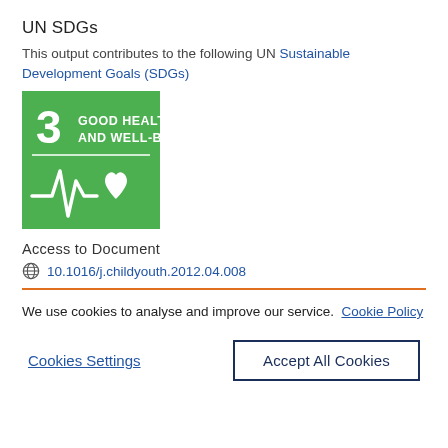UN SDGs
This output contributes to the following UN Sustainable Development Goals (SDGs)
[Figure (logo): UN SDG 3 - Good Health and Well-Being badge. Green square with white text '3 GOOD HEALTH AND WELL-BEING' and a heartbeat/ECG line with heart icon.]
Access to Document
10.1016/j.childyouth.2012.04.008
We use cookies to analyse and improve our service. Cookie Policy
Cookies Settings
Accept All Cookies